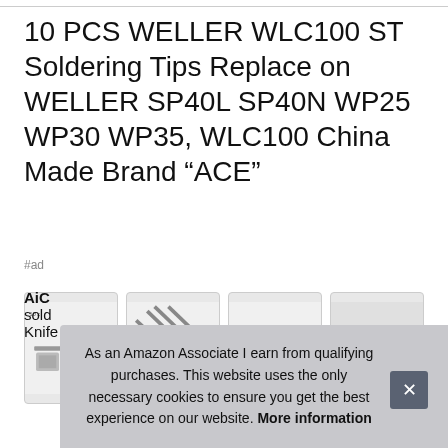10 PCS WELLER WLC100 ST Soldering Tips Replace on WELLER SP40L SP40N WP25 WP30 WP35, WLC100 China Made Brand “ACE”
#ad
[Figure (photo): Four thumbnail images of soldering tips/products]
AiC
sold
Knife shapes helps when soldering on different projects. No
As an Amazon Associate I earn from qualifying purchases. This website uses the only necessary cookies to ensure you get the best experience on our website. More information